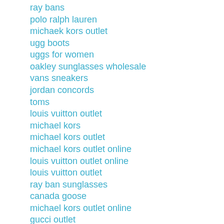ray bans
polo ralph lauren
michaek kors outlet
ugg boots
uggs for women
oakley sunglasses wholesale
vans sneakers
jordan concords
toms
louis vuitton outlet
michael kors
michael kors outlet
michael kors outlet online
louis vuitton outlet online
louis vuitton outlet
ray ban sunglasses
canada goose
michael kors outlet online
gucci outlet
ugg australia
hollister kids
ray-ban sunglasses